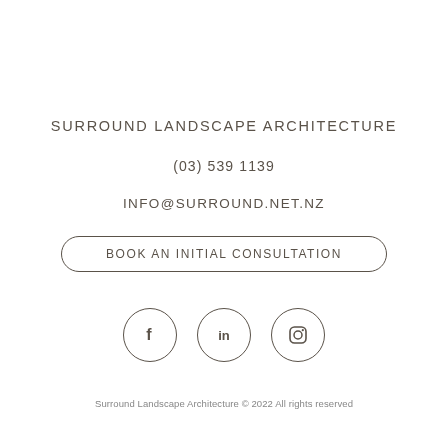SURROUND LANDSCAPE ARCHITECTURE
(03) 539 1139
INFO@SURROUND.NET.NZ
BOOK AN INITIAL CONSULTATION
[Figure (other): Three social media icon circles: Facebook (f), LinkedIn (in), and Instagram (camera icon)]
Surround Landscape Architecture © 2022 All rights reserved